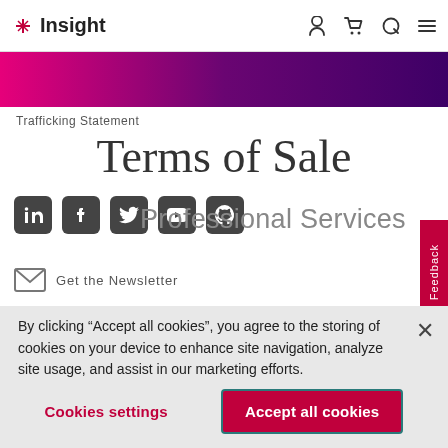Insight
[Figure (other): Gradient banner from pink/magenta to deep purple]
Trafficking Statement
Terms of Sale
[Figure (other): Social media icons: LinkedIn, Facebook, Twitter, YouTube, GitHub]
Professional Services
Get the Newsletter
By clicking “Accept all cookies”, you agree to the storing of cookies on your device to enhance site navigation, analyze site usage, and assist in our marketing efforts.
Cookies settings
Accept all cookies